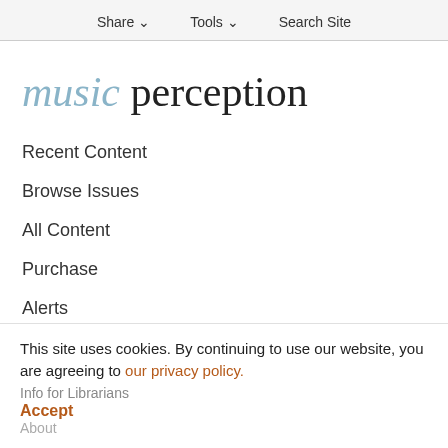Share ∨   Tools ∨   Search Site
music perception
Recent Content
Browse Issues
All Content
Purchase
Alerts
Submit
This site uses cookies. By continuing to use our website, you are agreeing to our privacy policy.
Accept